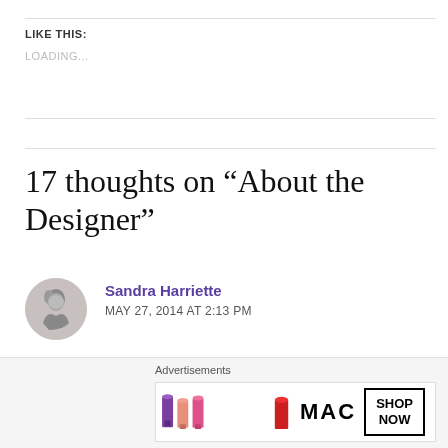LIKE THIS:
LOADING...
17 thoughts on “About the Designer”
Sandra Harriette
MAY 27, 2014 AT 2:13 PM
Connected with you, Chelly! Let’s stay in touch :]
Advertisements